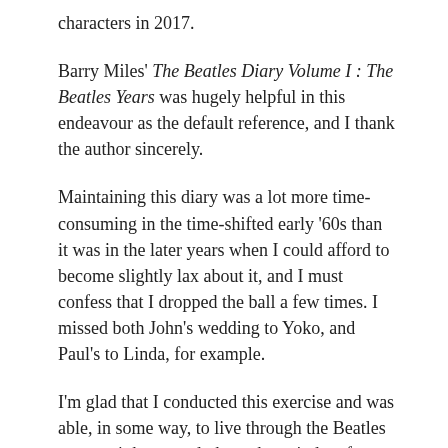characters in 2017.
Barry Miles' The Beatles Diary Volume I : The Beatles Years was hugely helpful in this endeavour as the default reference, and I thank the author sincerely.
Maintaining this diary was a lot more time-consuming in the time-shifted early '60s than it was in the later years when I could afford to become slightly lax about it, and I must confess that I dropped the ball a few times. I missed both John's wedding to Yoko, and Paul's to Linda, for example.
I'm glad that I conducted this exercise and was able, in some way, to live through the Beatles story as it happened, through a window from the future. And yet there's still something strange and elusive about the way they and the culture around them changed. It's still hard to pin down. One moment that I thought might be significant is when Lennon returns from a US tour wearing a colourful striped boating